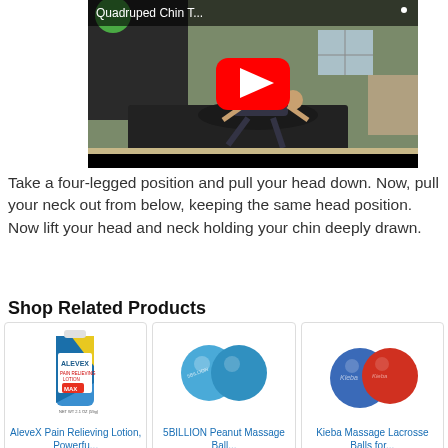[Figure (screenshot): YouTube video thumbnail showing a person in quadruped position on a yoga mat outdoors, with a red YouTube play button overlay and title 'Quadruped Chin T...']
Take a four-legged position and pull your head down. Now, pull your neck out from below, keeping the same head position. Now lift your head and neck holding your chin deeply drawn.
Shop Related Products
[Figure (photo): AleveX Pain Relieving Lotion tube product photo]
AleveX Pain Relieving Lotion, Powerfu...
[Figure (photo): 5BILLION Peanut Massage Ball product photo showing two blue balls connected]
5BILLION Peanut Massage Ball...
[Figure (photo): Kieba Massage Lacrosse Balls product photo showing a blue and a red ball]
Kieba Massage Lacrosse Balls for...